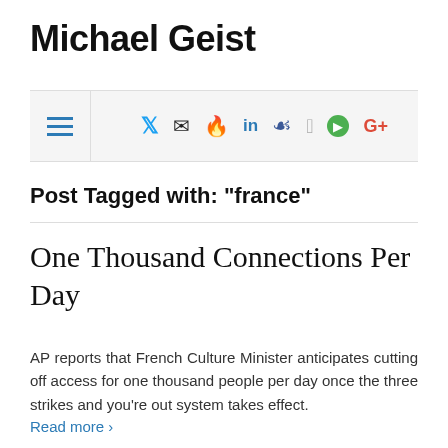Michael Geist
[Figure (other): Navigation bar with hamburger menu icon and social media icons: Twitter, Email, Fire, LinkedIn, Facebook, Apple, Spotify, Google+]
Post Tagged with: "france"
One Thousand Connections Per Day
AP reports that French Culture Minister anticipates cutting off access for one thousand people per day once the three strikes and you're out system takes effect.
Read more ›